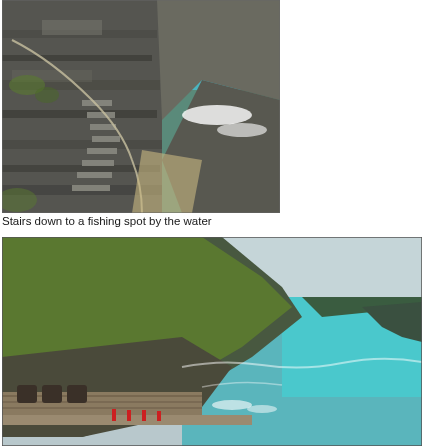[Figure (photo): Rocky coastal cliff face with stone stairs leading down to the water, rope handrail visible, turquoise sea in background]
Stairs down to a fishing spot by the water
[Figure (photo): Coastal path along rocky hillside with green vegetation, stone retaining wall, and turquoise sea stretching to the horizon under a grey sky]